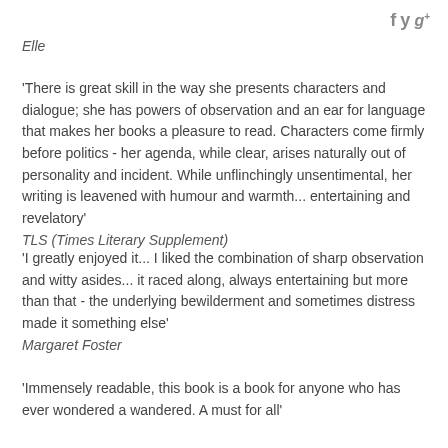[Figure (other): Social media icons: Facebook (f), Twitter (bird), Google+ (g+)]
Elle
'There is great skill in the way she presents characters and dialogue; she has powers of observation and an ear for language that makes her books a pleasure to read. Characters come firmly before politics - her agenda, while clear, arises naturally out of personality and incident. While unflinchingly unsentimental, her writing is leavened with humour and warmth... entertaining and revelatory'
TLS (Times Literary Supplement)
'I greatly enjoyed it... I liked the combination of sharp observation and witty asides... it raced along, always entertaining but more than that - the underlying bewilderment and sometimes distress made it something else'
Margaret Foster
'Immensely readable, this book is a book for anyone who has ever wondered a wandered. A must for all'